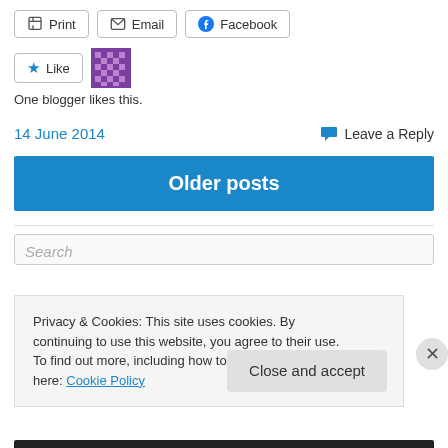[Figure (screenshot): Share buttons: Print, Email, Facebook]
[Figure (screenshot): Like button with star icon and blogger avatar]
One blogger likes this.
14 June 2014
Leave a Reply
Older posts
Search
Privacy & Cookies: This site uses cookies. By continuing to use this website, you agree to their use.
To find out more, including how to control cookies, see here: Cookie Policy
Close and accept